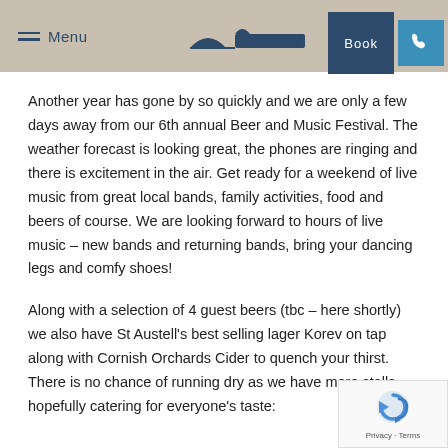Menu | [Logo] | Book | [Phone]
Another year has gone by so quickly and we are only a few days away from our 6th annual Beer and Music Festival. The weather forecast is looking great, the phones are ringing and there is excitement in the air. Get ready for a weekend of live music from great local bands, family activities, food and beers of course. We are looking forward to hours of live music – new bands and returning bands, bring your dancing legs and comfy shoes!
Along with a selection of 4 guest beers (tbc – here shortly) we also have St Austell's best selling lager Korev on tap along with Cornish Orchards Cider to quench your thirst. There is no chance of running dry as we have more stalls hopefully catering for everyone's taste: